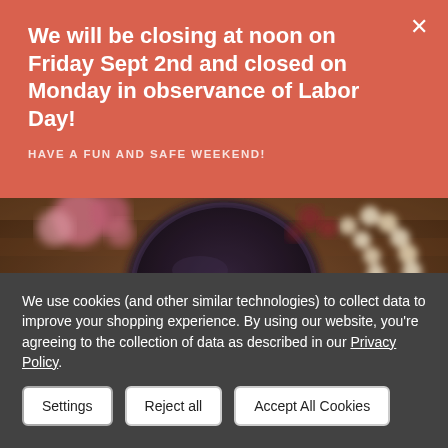We will be closing at noon on Friday Sept 2nd and closed on Monday in observance of Labor Day!
HAVE A FUN AND SAFE WEEKEND!
[Figure (photo): Blurred overhead photo of a dark bowl with assorted food items including flowers, lemon, nuts and white beads/pearls on a wooden surface]
We use cookies (and other similar technologies) to collect data to improve your shopping experience. By using our website, you're agreeing to the collection of data as described in our Privacy Policy.
Settings  Reject all  Accept All Cookies